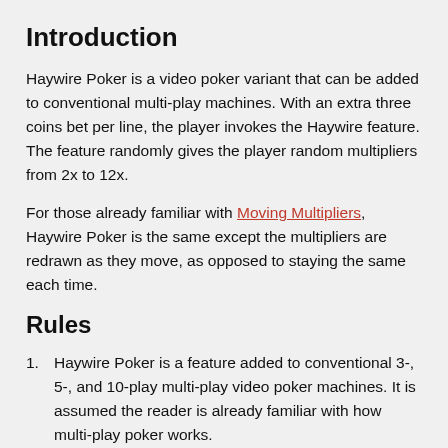Introduction
Haywire Poker is a video poker variant that can be added to conventional multi-play machines. With an extra three coins bet per line, the player invokes the Haywire feature. The feature randomly gives the player random multipliers from 2x to 12x.
For those already familiar with Moving Multipliers, Haywire Poker is the same except the multipliers are redrawn as they move, as opposed to staying the same each time.
Rules
Haywire Poker is a feature added to conventional 3-, 5-, and 10-play multi-play video poker machines. It is assumed the reader is already familiar with how multi-play poker works.
If the player bets a maximum eight coins per hand, then he...